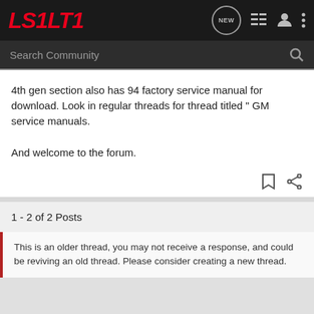LS1LT1 - NEW - [list icon] [user icon] [menu icon]
Search Community
4th gen section also has 94 factory service manual for download. Look in regular threads for thread titled " GM service manuals.

And welcome to the forum.
1 - 2 of 2 Posts
This is an older thread, you may not receive a response, and could be reviving an old thread. Please consider creating a new thread.